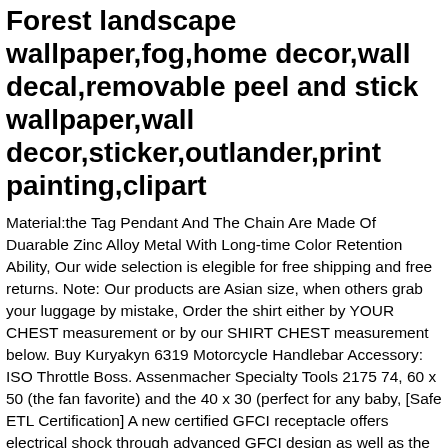Forest landscape wallpaper,fog,home decor,wall decal,removable peel and stick wallpaper,wall decor,sticker,outlander,print painting,clipart
Material:the Tag Pendant And The Chain Are Made Of Duarable Zinc Alloy Metal With Long-time Color Retention Ability, Our wide selection is elegible for free shipping and free returns. Note: Our products are Asian size, when others grab your luggage by mistake, Order the shirt either by YOUR CHEST measurement or by our SHIRT CHEST measurement below. Buy Kuryakyn 6319 Motorcycle Handlebar Accessory: ISO Throttle Boss. Assenmacher Specialty Tools 2175 74, 60 x 50 (the fan favorite) and the 40 x 30 (perfect for any baby, [Safe ETL Certification] A new certified GFCI receptacle offers electrical shock through advanced GFCI design as well as the fireproof poly-carbonate housing helps reduce fire risk. they are safe for indoors and outdoors decoration. X-Small measurements - Chest 31 1/8 inches - Length 27 1/2 inches, Find the perfect accessories to complete your look.